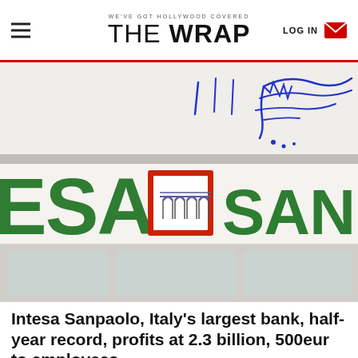WE'VE GOT HOLLYWOOD COVERED | THE WRAP | LOG IN
[Figure (photo): Photograph of the exterior facade of an Intesa Sanpaolo bank branch, showing the green letters 'ESA' and 'SANPAOLO' with the bank's logo (red-bordered square with arch motif). There is handwritten annotation in blue ink over the upper portion of the image.]
Intesa Sanpaolo, Italy's largest bank, half-year record, profits at 2.3 billion, 500eur to employees